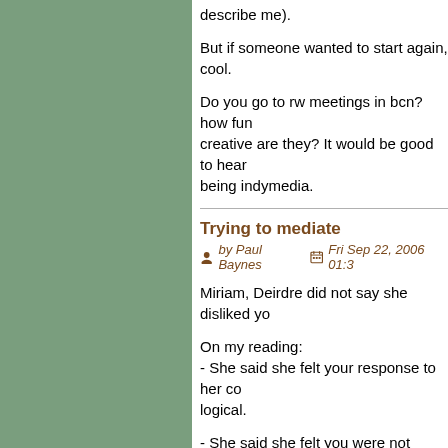describe me).
But if someone wanted to start again, cool.
Do you go to rw meetings in bcn? how func creative are they? It would be good to hear being indymedia.
Trying to mediate
by Paul Baynes   Fri Sep 22, 2006 01:3
Miriam, Deirdre did not say she disliked yo
On my reading:
- She said she felt your response to her co logical.
- She said she felt you were not suitable to
- She said you were a good writer.
Yes, what she said was largely negative, b valid. She made criticisms of you, just as y making criticisms. She raised substantive p that what she said was absolutely fair. Whe is beside the point - you and I have corresp about your editorship, so there's no need to
But she did not say she disliked you - this i